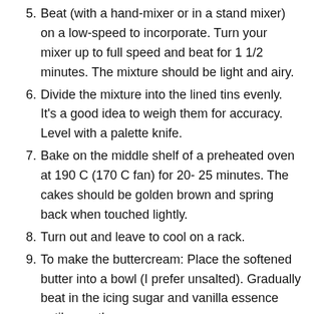5. Beat (with a hand-mixer or in a stand mixer) on a low-speed to incorporate. Turn your mixer up to full speed and beat for 1 1/2 minutes. The mixture should be light and airy.
6. Divide the mixture into the lined tins evenly. It's a good idea to weigh them for accuracy. Level with a palette knife.
7. Bake on the middle shelf of a preheated oven at 190 C (170 C fan) for 20- 25 minutes. The cakes should be golden brown and spring back when touched lightly.
8. Turn out and leave to cool on a rack.
9. To make the buttercream: Place the softened butter into a bowl (I prefer unsalted). Gradually beat in the icing sugar and vanilla essence until smooth. Spread the buttercream onto the base of one of the